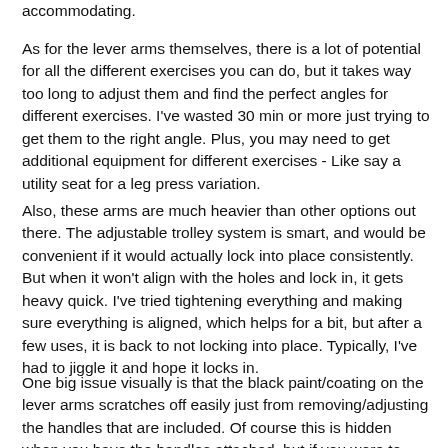accommodating.
As for the lever arms themselves, there is a lot of potential for all the different exercises you can do, but it takes way too long to adjust them and find the perfect angles for different exercises. I've wasted 30 min or more just trying to get them to the right angle. Plus, you may need to get additional equipment for different exercises - Like say a utility seat for a leg press variation.
Also, these arms are much heavier than other options out there. The adjustable trolley system is smart, and would be convenient if it would actually lock into place consistently.   But when it won't align with the holes and lock in, it gets heavy quick. I've tried tightening everything and making sure everything is aligned, which helps for a bit, but after a few uses, it is back to not locking into place. Typically, I've had to jiggle it and hope it locks in.
One big issue visually is that the black paint/coating on the lever arms scratches off easily just from removing/adjusting the handles that are included. Of course this is hidden when you have the handles attached, but if you were to use them at a different spot, or